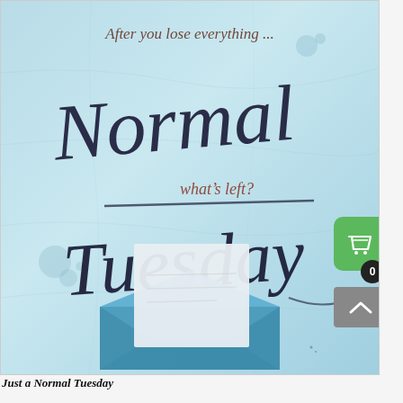[Figure (illustration): Book cover for 'Just a Normal Tuesday'. Light blue crinkled paper background with handwritten-style calligraphy text. Text reads: 'After you lose everything ...' (italic serif, dark), 'Normal' (large cursive script, dark navy), 'what's left?' (smaller italic, reddish-brown), a horizontal line, 'Tuesday' (large cursive script, dark navy), and a blue envelope with a white letter/card inside in the lower portion. Small ink spots and circular watercolor marks scattered around. A green shopping basket button UI overlay appears in the upper right, with a black badge showing '0', and a grey scroll-up button below.]
Just a Normal Tuesday